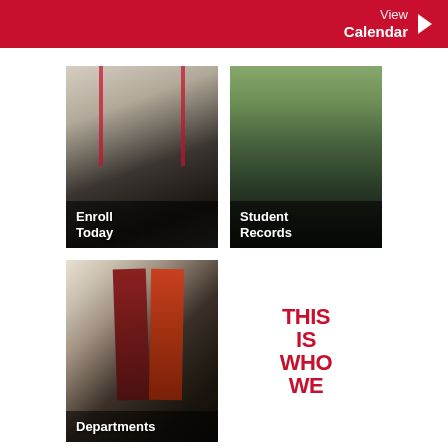View Calendar
[Figure (photo): Student standing in a hallway with red accent lighting, smiling at camera, with text overlay 'Enroll Today']
[Figure (photo): Outdoor campus scene with students gathered under trees, with text overlay 'Student Records']
[Figure (photo): Indoor hallway with 'This Is Who We Are' posters on wall, with text overlay 'Departments']
[Figure (infographic): Bold red text graphic reading 'THIS IS WHO WE ARE' on white background]